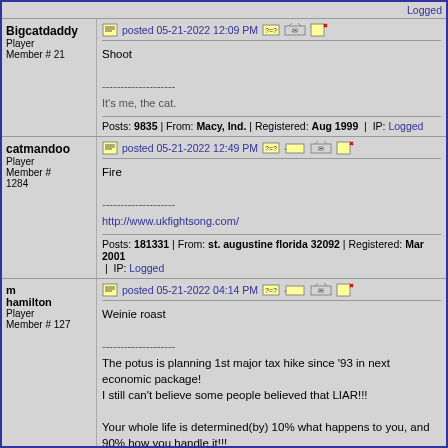Logged
Bigcatdaddy
Player
Member # 21
posted 05-21-2022 12:09 PM
Shoot

--------------------
It's me, the cat.
Posts: 9835 | From: Macy, Ind. | Registered: Aug 1999  |  IP: Logged
catmandoo
Player
Member # 1284
posted 05-21-2022 12:49 PM
Fire

--------------------
http://www.ukfightsong.com/
Posts: 181331 | From: st. augustine florida 32092 | Registered: Mar 2001  |  IP: Logged
m hamilton
Player
Member # 127
posted 05-21-2022 04:14 PM
Weinie roast

--------------------
The potus is planning 1st major tax hike since '93 in next economic package!
I still can't believe some people believed that LIAR!!!

Your whole life is determined(by) 10% what happens to you, and 90% how you handle it!!!